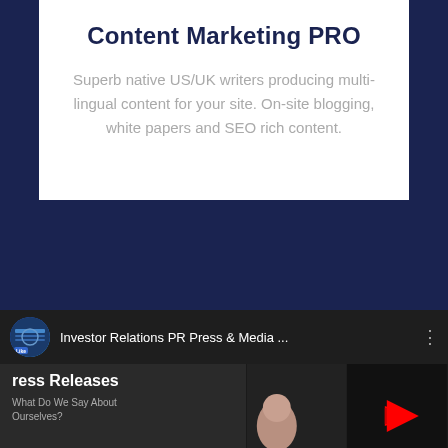Content Marketing PRO
Superb native US/UK writers producing multi-lingual content for your site. On-site blogging, white papers and SEO rich content.
[Figure (screenshot): YouTube video embed showing 'Investor Relations PR Press & Media ...' with a channel avatar, video title bar, and video thumbnail showing a press releases page with a play button and a person in the lower left corner.]